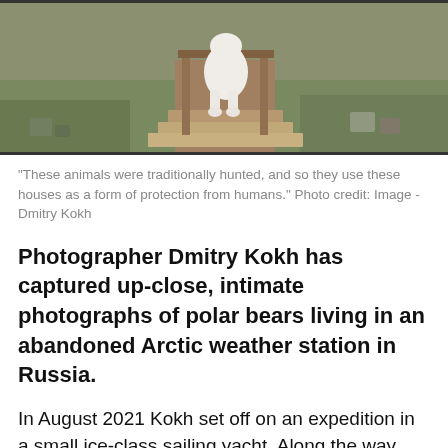[Figure (photo): A polar bear descending wooden steps/stairs of an abandoned building structure, with green grass and debris visible around the base.]
"These animals were traditionally hunted, and so they use these houses as a form of protection from humans." Photo credit: Image - Dmitry Kokh
Photographer Dmitry Kokh has captured up-close, intimate photographs of polar bears living in an abandoned Arctic weather station in Russia.
In August 2021 Kokh set off on an expedition in a small ice-class sailing yacht. Along the way, Kokh was joined by a range of wildlife, he wrote in a column to The Guardian.
"Stopping in deserted bays and photographing grey and humpback whales. We met an incredible number